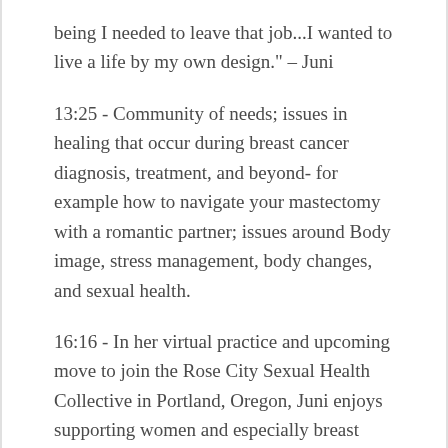being I needed to leave that job...I wanted to live a life by my own design." – Juni
13:25 - Community of needs; issues in healing that occur during breast cancer diagnosis, treatment, and beyond- for example how to navigate your mastectomy with a romantic partner; issues around Body image, stress management, body changes, and sexual health.
16:16 - In her virtual practice and upcoming move to join the Rose City Sexual Health Collective in Portland, Oregon, Juni enjoys supporting women and especially breast